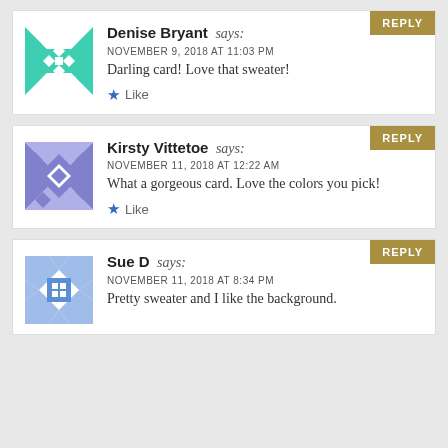Denise Bryant says: NOVEMBER 9, 2018 AT 11:03 PM — Darling card! Love that sweater!
Like
Kirsty Vittetoe says: NOVEMBER 11, 2018 AT 12:22 AM — What a gorgeous card. Love the colors you pick!
Like
Sue D says: NOVEMBER 11, 2018 AT 8:34 PM — Pretty sweater and I like the background.